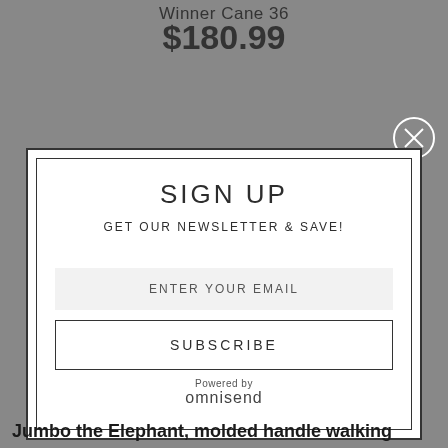Winner Cane 36
$180.99
[Figure (screenshot): Modal popup overlay with sign up newsletter form on a grey background product page]
SIGN UP
GET OUR NEWSLETTER & SAVE!
ENTER YOUR EMAIL
SUBSCRIBE
Powered by omnisend
Jumbo the Elephant, molded handle walking